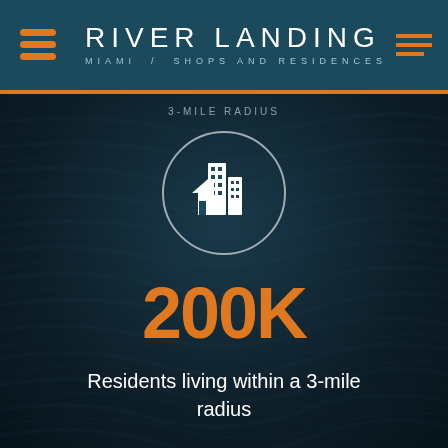RIVER LANDING MIAMI / SHOPS AND RESIDENCES
[Figure (infographic): City/buildings icon inside a white circle on dark water-texture background. Large orange stat '200K' with descriptor text below.]
200K
Residents living within a 3-mile radius